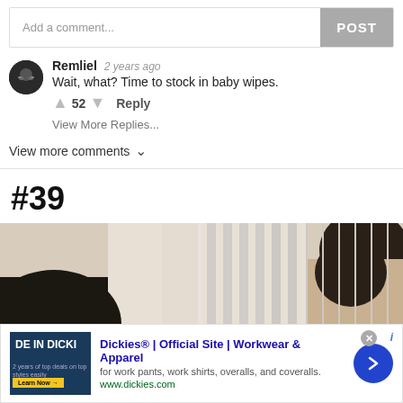Add a comment...
Remliel  2 years ago
Wait, what? Time to stock in baby wipes.
▲ 52 ▼  Reply
View More Replies...
View more comments ∨
#39
[Figure (photo): Photo of two people, partial view, one with dark hair on left, another on right, with window blinds in background]
Dickies® | Official Site | Workwear & Apparel
for work pants, work shirts, overalls, and coveralls.
www.dickies.com